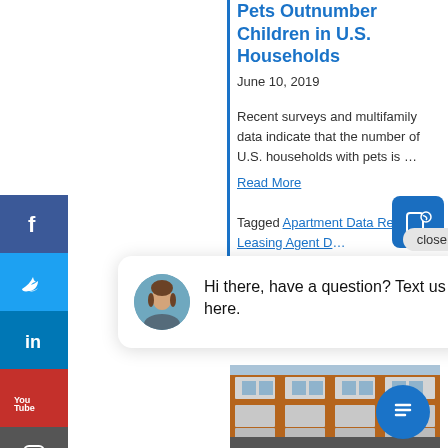Pets Outnumber Children in U.S. Households
June 10, 2019
Recent surveys and multifamily data indicate that the number of U.S. households with pets is …
Read More
Tagged Apartment Data Research, Leasing Agent D...
[Figure (other): Chat popup with avatar photo of a woman. Text reads: Hi there, have a question? Text us here. With a close button.]
[Figure (photo): Photo of a multi-story apartment building with balconies, brick facade.]